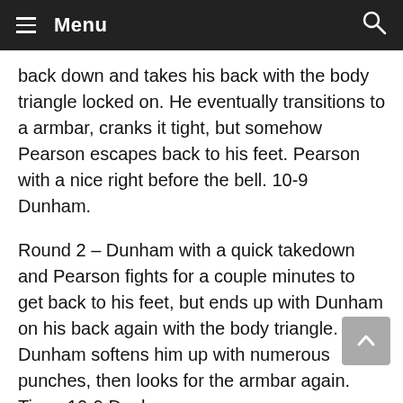Menu
back down and takes his back with the body triangle locked on. He eventually transitions to a armbar, cranks it tight, but somehow Pearson escapes back to his feet. Pearson with a nice right before the bell. 10-9 Dunham.
Round 2 – Dunham with a quick takedown and Pearson fights for a couple minutes to get back to his feet, but ends up with Dunham on his back again with the body triangle. Dunham softens him up with numerous punches, then looks for the armbar again. Time. 10-9 Dunham.
Round 3 – High kick from Dunham blocked. Body punch from Pearson, he stuffs a takedown